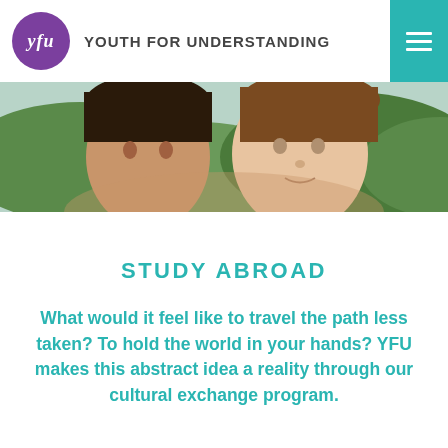YFU YOUTH FOR UNDERSTANDING
[Figure (photo): Two young women close together, outdoors with green trees and hills in background, header hero image]
STUDY ABROAD
What would it feel like to travel the path less taken? To hold the world in your hands? YFU makes this abstract idea a reality through our cultural exchange program.